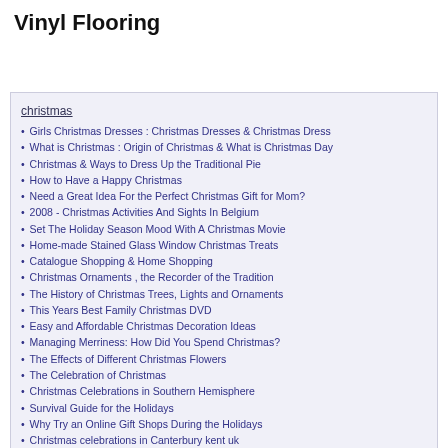Vinyl Flooring
christmas
Girls Christmas Dresses : Christmas Dresses & Christmas Dress
What is Christmas : Origin of Christmas & What is Christmas Day
Christmas & Ways to Dress Up the Traditional Pie
How to Have a Happy Christmas
Need a Great Idea For the Perfect Christmas Gift for Mom?
2008 - Christmas Activities And Sights In Belgium
Set The Holiday Season Mood With A Christmas Movie
Home-made Stained Glass Window Christmas Treats
Catalogue Shopping & Home Shopping
Christmas Ornaments , the Recorder of the Tradition
The History of Christmas Trees, Lights and Ornaments
This Years Best Family Christmas DVD
Easy and Affordable Christmas Decoration Ideas
Managing Merriness: How Did You Spend Christmas?
The Effects of Different Christmas Flowers
The Celebration of Christmas
Christmas Celebrations in Southern Hemisphere
Survival Guide for the Holidays
Why Try an Online Gift Shops During the Holidays
Christmas celebrations in Canterbury kent uk